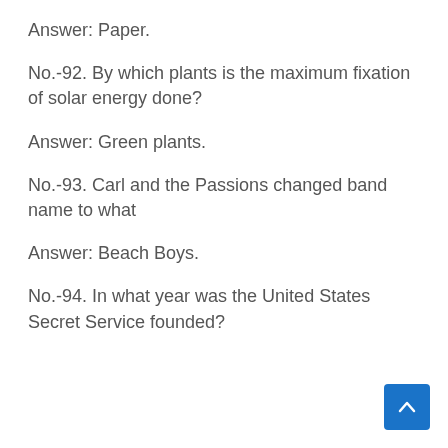Answer: Paper.
No.-92. By which plants is the maximum fixation of solar energy done?
Answer: Green plants.
No.-93. Carl and the Passions changed band name to what
Answer: Beach Boys.
No.-94. In what year was the United States Secret Service founded?